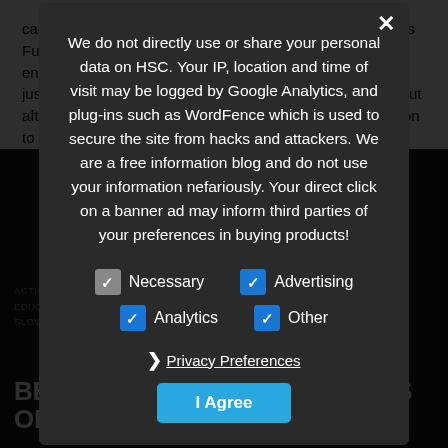cameras by shooting up to 300fps 10 bit Full HDish, 240fps Full HD 10bit, and 120fps at 4k 10 bit.  For slow motion enthusiasts, it looks to be a great camera on paper and at just under $2,200 USD it is not going to break the bank.  But after all of this, should you invest in the GH6 on slow motion to the save more for...
We do not directly use or share your personal data on HSC. Your IP, location and time of visit may be logged by Google Analytics, and plug-ins such as WordFence which is used to secure the site from hacks and attackers. We are a free information blog and do not use your information nefariously. Your direct click on a banner ad may inform third parties of your preferences in buying products!
Necessary (checked gray)
Advertising (checked blue)
Analytics (checked blue)
Other (checked blue)
Privacy Preferences
I Agree
ACTION CAMERAS, ANNOUNCEMENTS, ARTICLES, CAMERA DEALS, EDUCATION, FEATURED, HI SPEED PHONE VIDEO, MEDIA SHOWCASE, SLOWMO SAMPLES
BEST SLOW MOTION CAMERAS OF 2021!